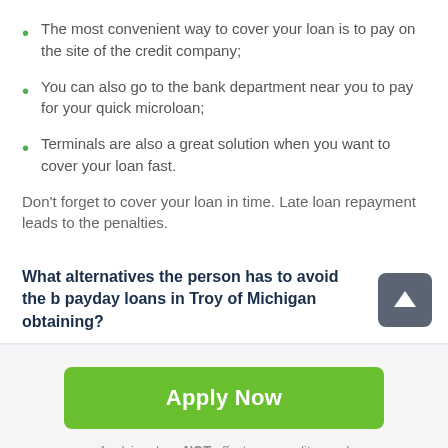The most convenient way to cover your loan is to pay on the site of the credit company;
You can also go to the bank department near you to pay for your quick microloan;
Terminals are also a great solution when you want to cover your loan fast.
Don't forget to cover your loan in time. Late loan repayment leads to the penalties.
What alternatives the person has to avoid the b payday loans in Troy of Michigan obtaining?
Apply Now
Applying does NOT affect your credit score!
No credit check to apply.